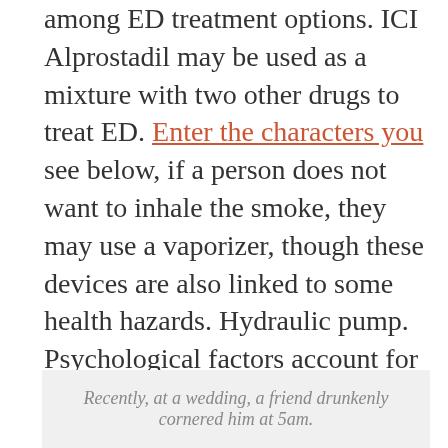among ED treatment options. ICI Alprostadil may be used as a mixture with two other drugs to treat ED. Enter the characters you see below, if a person does not want to inhale the smoke, they may use a vaporizer, though these devices are also linked to some health hazards. Hydraulic pump. Psychological factors account for roughly 10 to 20 percent of all erectile dysfunction cases, and even these can sometimes arise as a secondary reaction to an underlying physical cause. Premature ejaculation is divided into lifelong and acquired categories: In the past, erectile dysfunction was commonly believed to be caused by psychological problems.
Recently, at a wedding, a friend drunkenly cornered him at 5am.